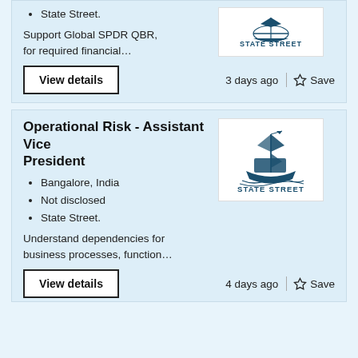State Street.
Support Global SPDR QBR, for required financial…
View details
3 days ago
Save
Operational Risk - Assistant Vice President
Bangalore, India
Not disclosed
State Street.
Understand dependencies for business processes, function…
View details
4 days ago
Save